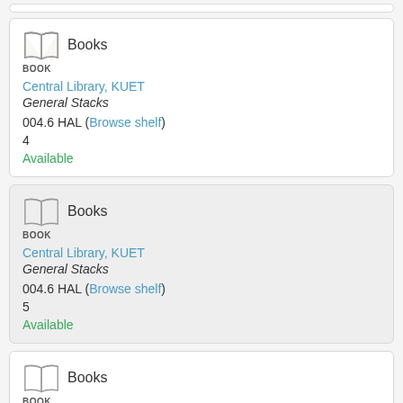[Figure (illustration): Open book icon with label BOOK - card 1]
Books
BOOK
Central Library, KUET
General Stacks
004.6 HAL (Browse shelf)
4
Available
[Figure (illustration): Open book icon with label BOOK - card 2]
Books
BOOK
Central Library, KUET
General Stacks
004.6 HAL (Browse shelf)
5
Available
[Figure (illustration): Open book icon with label BOOK - card 3]
Books
BOOK
Central Library, KUET
General Stacks